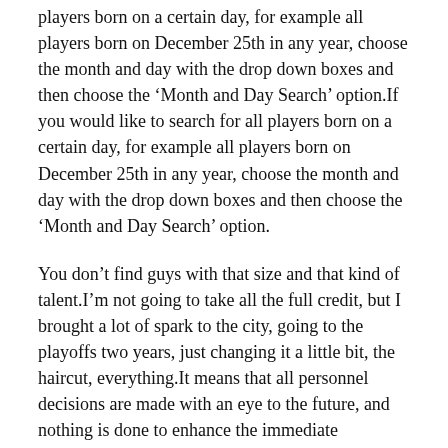players born on a certain day, for example all players born on December 25th in any year, choose the month and day with the drop down boxes and then choose the ‘Month and Day Search’ option.If you would like to search for all players born on a certain day, for example all players born on December 25th in any year, choose the month and day with the drop down boxes and then choose the ‘Month and Day Search’ option.
You don’t find guys with that size and that kind of talent.I’m not going to take all the full credit, but I brought a lot of spark to the city, going to the playoffs two years, just changing it a little bit, the haircut, everything.It means that all personnel decisions are made with an eye to the future, and nothing is done to enhance the immediate prospects of the team.This is a positive reflection on all of the work the entire team, coaching staff and